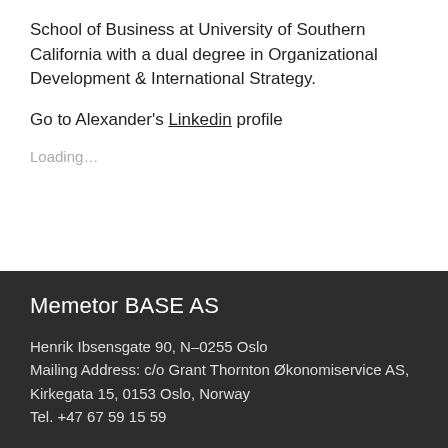School of Business at University of Southern California with a dual degree in Organizational Development & International Strategy.
Go to Alexander's Linkedin profile
Loading...
Memetor BASE AS
Henrik Ibsensgate 90, N–0255 Oslo
Mailing Address: c/o Grant Thornton Økonomiservice AS,
Kirkegata 15, 0153 Oslo, Norway
Tel. +47 67 59 15 59